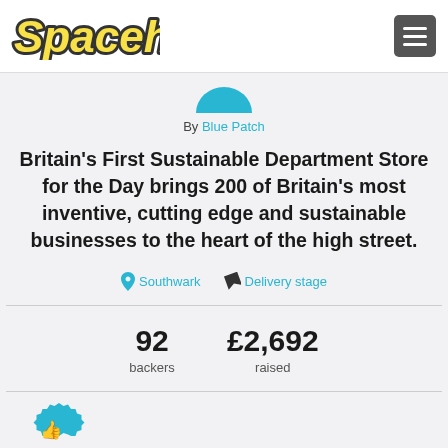Spacehive
[Figure (logo): Spacehive logo with yellow italic bold text and dark outline]
By Blue Patch
Britain's First Sustainable Department Store for the Day brings 200 of Britain's most inventive, cutting edge and sustainable businesses to the heart of the high street.
Southwark   Delivery stage
92 backers   £2,692 raised
[Figure (illustration): Blue badge/seal icon partially visible at bottom left]